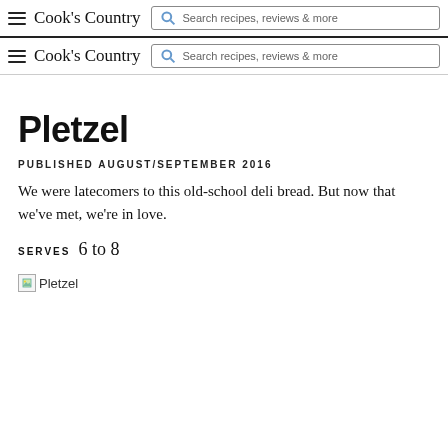Cook's Country — Search recipes, reviews & more (nav bar 1)
Cook's Country — Search recipes, reviews & more (nav bar 2)
Pletzel
PUBLISHED AUGUST/SEPTEMBER 2016
We were latecomers to this old-school deli bread. But now that we've met, we're in love.
SERVES 6 to 8
[Figure (photo): Pletzel bread photo (broken/loading image)]